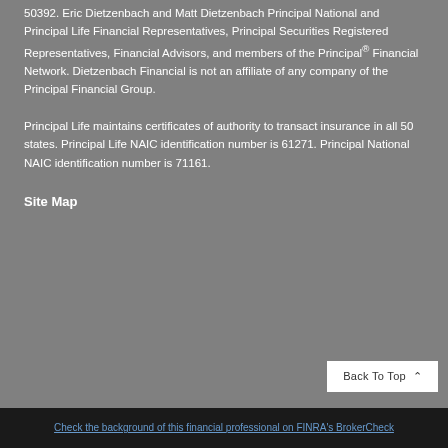50392. Eric Dietzenbach and Matt Dietzenbach Principal National and Principal Life Financial Representatives, Principal Securities Registered Representatives, Financial Advisors, and members of the Principal® Financial Network. Dietzenbach Financial is not an affiliate of any company of the Principal Financial Group.
Principal Life maintains certificates of authority to transact insurance in all 50 states. Principal Life NAIC identification number is 61271. Principal National NAIC identification number is 71161.
Site Map
Check the background of this financial professional on FINRA's BrokerCheck